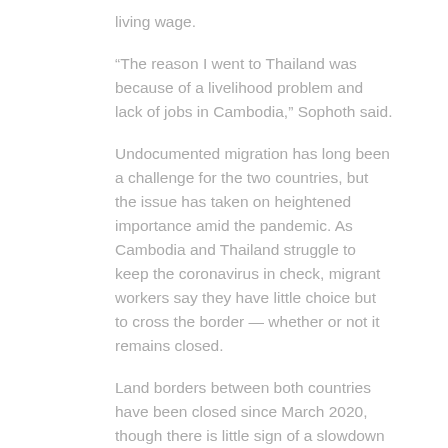living wage.
“The reason I went to Thailand was because of a livelihood problem and lack of jobs in Cambodia,” Sophoth said.
Undocumented migration has long been a challenge for the two countries, but the issue has taken on heightened importance amid the pandemic. As Cambodia and Thailand struggle to keep the coronavirus in check, migrant workers say they have little choice but to cross the border — whether or not it remains closed.
Land borders between both countries have been closed since March 2020, though there is little sign of a slowdown in illegal crossings.